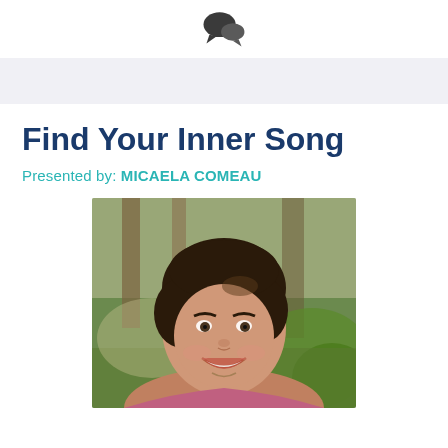[chat bubble icon]
Find Your Inner Song
Presented by: MICAELA COMEAU
[Figure (photo): Portrait photo of Micaela Comeau, a woman with short dark hair, smiling, photographed outdoors with trees and green foliage in the background.]